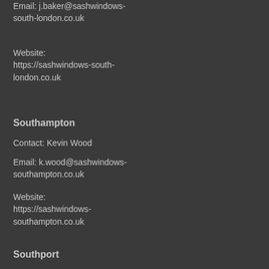Email: j.baker@sashwindows-south-london.co.uk
Website: https://sashwindows-south-london.co.uk
m.smith@sashwindows-south-yorkshire.co.uk
Website: https://sashwindows-south-yorkshire.co.uk
Southampton
Contact: Kevin Wood
Email: k.wood@sashwindows-southampton.co.uk
Website: https://sashwindows-southampton.co.uk
Southend
Contact: Phillip Johnson
Email: p.johnson@sashwindows-southend.co.uk
Website: https://sashwindows-southend.co.uk
Southport
Southwark